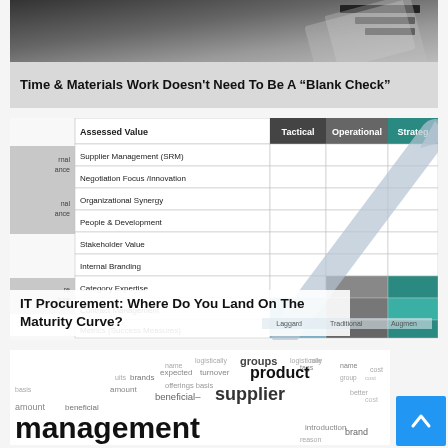[Figure (photo): Dark grey image with ruler/tape measure and overlaid translucent document/check icon — header image for Time & Materials article]
Time & Materials Work Doesn't Need To Be A "Blank Check"
[Figure (table-as-image): IT Procurement Maturity Curve table with Assessed Value categories (Supplier Management SRM, Negotiation Focus/Innovation, Organizational Synergy, People & Development, Stakeholder Value, Internal Branding, Category Expertise, Contract Management, Metrics/Success Measures) across columns Tactical, Operational, Strategic and rows Laggard, Traditional, Augmented with colored fill blocks and upward arrow overlay]
IT Procurement: Where Do You Land On The Maturity Curve?
[Figure (infographic): Word cloud featuring procurement-related terms: product, management, supplier, turnover, groups, brands, amount, beneficial, offerings, basis, expected, logistically, introduction, brand, reason, people, category]